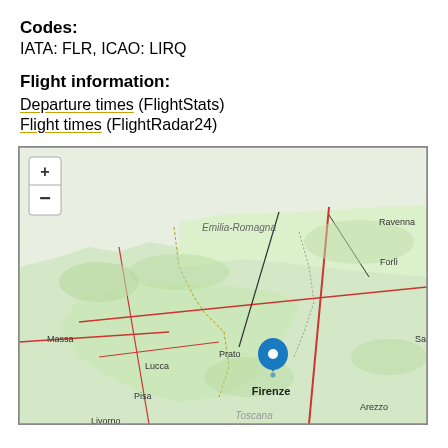Codes:
IATA: FLR, ICAO: LIRQ
Flight information:
Departure times (FlightStats)
Flight times (FlightRadar24)
[Figure (map): OpenStreetMap showing central Italy (Tuscany and Emilia-Romagna regions) with a blue location pin marker placed at Florence (Firenze). Visible cities include Massa, Lucca, Pisa, Livorno, Prato, Firenze, Arezzo, Forlì, Ravenna, and Toscana label. Map includes zoom controls (+/-) in upper left corner.]